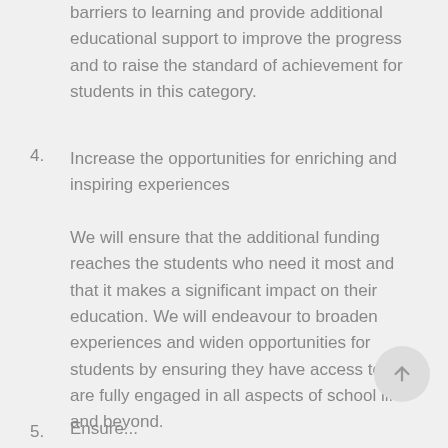barriers to learning and provide additional educational support to improve the progress and to raise the standard of achievement for students in this category.
4. Increase the opportunities for enriching and inspiring experiences
We will ensure that the additional funding reaches the students who need it most and that it makes a significant impact on their education. We will endeavour to broaden experiences and widen opportunities for students by ensuring they have access to and are fully engaged in all aspects of school life and beyond.
5. Ensure...